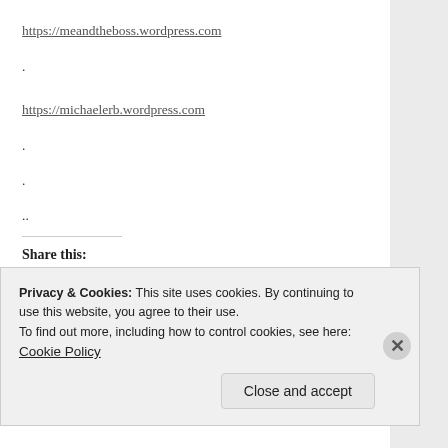https://meandtheboss.wordpress.com
.
https://michaelerb.wordpress.com
.
.
..
Share this:
[Figure (screenshot): Share buttons row: Facebook, Twitter, Pinterest, More]
[Figure (screenshot): Like button with avatar thumbnails]
Privacy & Cookies: This site uses cookies. By continuing to use this website, you agree to their use. To find out more, including how to control cookies, see here: Cookie Policy
Close and accept